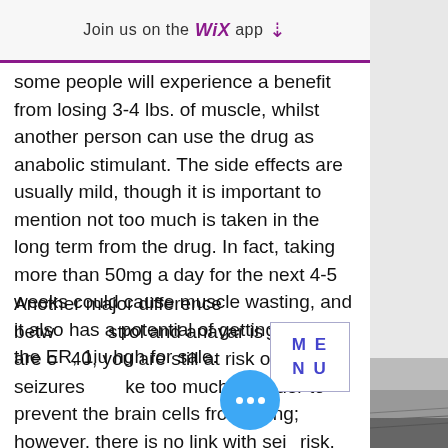Join us on the WiX app ↓
some people will experience a benefit from losing 3-4 lbs. of muscle, whilst another person can use the drug as anabolic stimulant. The side effects are usually mild, though it is important to mention not too much is taken in the long term from the drug. In fact, taking more than 50mg a day for the next 4-5 weeks could cause muscle wasting, and it also has a potential of getting you in the ER, 1iu hgh for sale.
Another major difference betw...strol and anavar is that if you are o...40, you are still at risk of seizures...ke too much, in order to prevent the brain cells from dying; however, there is no link with sei...risk, now hgh supplements. Although y...tend to lose weight with the drug, the